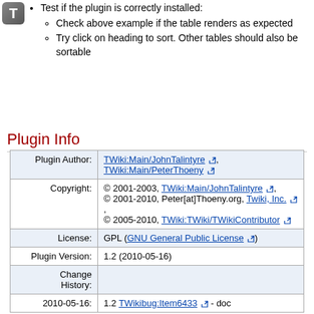Test if the plugin is correctly installed:
Check above example if the table renders as expected
Try click on heading to sort. Other tables should also be sortable
Plugin Info
|  |  |
| --- | --- |
| Plugin Author: | TWiki:Main/JohnTalintyre, TWiki:Main/PeterThoeny |
| Copyright: | © 2001-2003, TWiki:Main/JohnTalintyre, © 2001-2010, Peter[at]Thoeny.org, Twiki, Inc., © 2005-2010, TWiki:TWiki/TWikiContributor |
| License: | GPL (GNU General Public License) |
| Plugin Version: | 1.2 (2010-05-16) |
| Change History: |  |
| 2010-05-16: | 1.2 TWikibug:Item6433 - doc |